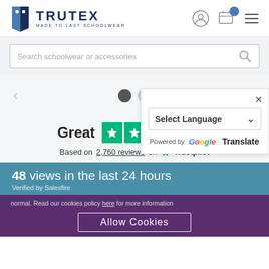[Figure (screenshot): Trutex schoolwear website screenshot showing logo, search bar, navigation, Google Translate widget, Trustpilot rating, Salesfire banner, and cookie consent bar]
TRUTEX MADE TO LAST SCHOOLWEAR
Search schoolwear or accessories
Select Language
Powered by Google Translate
Great
Based on 2,760 reviews on Trustpilot
48 views in the last 24 hours
Verified by Salesfire
normal. Read our cookies policy here for more information
Allow Cookies